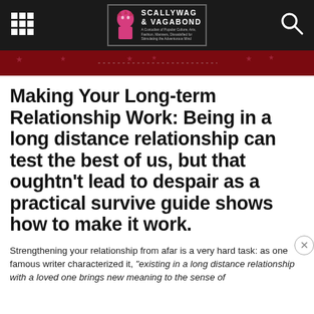SCALLYWAG & VAGABOND
[Figure (illustration): Dark red/maroon banner image with stars pattern]
Making Your Long-term Relationship Work: Being in a long distance relationship can test the best of us, but that oughtn't lead to despair as a practical survive guide shows how to make it work.
Strengthening your relationship from afar is a very hard task: as one famous writer characterized it, "existing in a long distance relationship with a loved one brings new meaning to the sense of